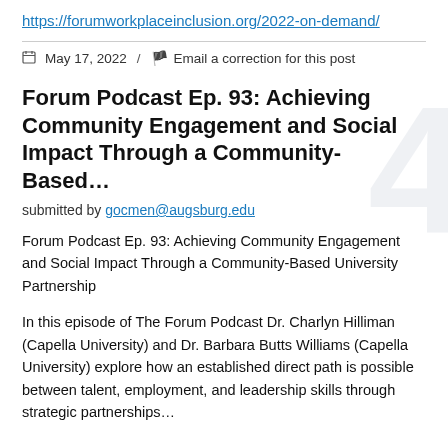https://forumworkplaceinclusion.org/2022-on-demand/
May 17, 2022 / Email a correction for this post
Forum Podcast Ep. 93: Achieving Community Engagement and Social Impact Through a Community-Based…
submitted by gocmen@augsburg.edu
Forum Podcast Ep. 93: Achieving Community Engagement and Social Impact Through a Community-Based University Partnership
In this episode of The Forum Podcast Dr. Charlyn Hilliman (Capella University) and Dr. Barbara Butts Williams (Capella University) explore how an established direct path is possible between talent, employment, and leadership skills through strategic partnerships…